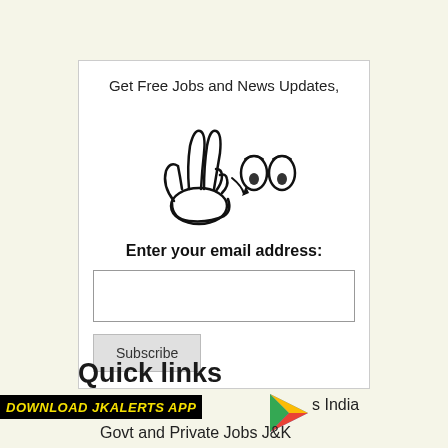Get Free Jobs and News Updates,
[Figure (illustration): Hand gesture illustration with peace/victory sign hand and cartoon eyes emoji]
Enter your email address:
[Figure (screenshot): Email input text field (empty)]
[Figure (screenshot): Subscribe button]
Quick links
[Figure (logo): Google Play store triangle logo icon]
DOWNLOAD JKALERTS APP
Jobs India
Govt and Private Jobs J&K